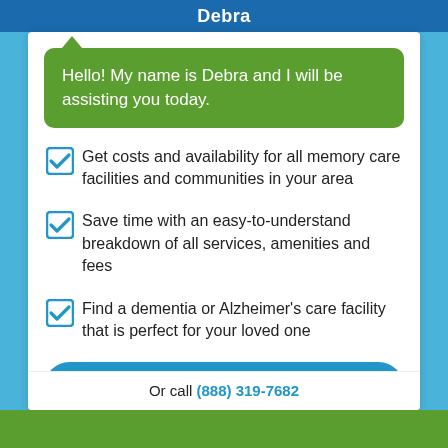Debra
Hello! My name is Debra and I will be assisting you today.
Get costs and availability for all memory care facilities and communities in your area
Save time with an easy-to-understand breakdown of all services, amenities and fees
Find a dementia or Alzheimer's care facility that is perfect for your loved one
Yes, I want to see pricing!
Or call (888) 319-7682